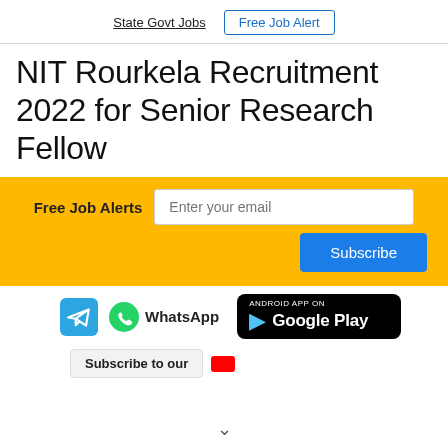State Govt Jobs | Free Job Alert
NIT Rourkela Recruitment 2022 for Senior Research Fellow
Free Job Alerts — Enter your email — Subscribe
[Figure (screenshot): App download badges: Telegram icon, WhatsApp icon with text, Google Play badge, Subscribe to our YouTube button with red icon]
Subscribe to our